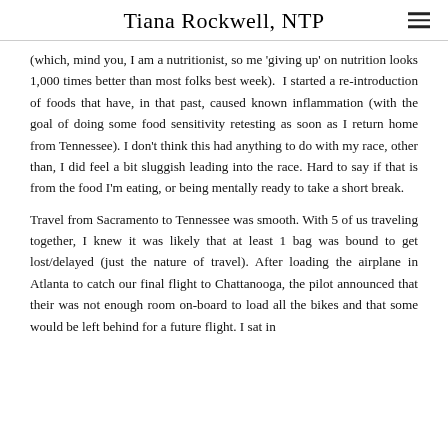Tiana Rockwell, NTP
(which, mind you, I am a nutritionist, so me 'giving up' on nutrition looks 1,000 times better than most folks best week).  I started a re-introduction of foods that have, in that past, caused known inflammation (with the goal of doing some food sensitivity retesting as soon as I return home from Tennessee). I don't think this had anything to do with my race, other than, I did feel a bit sluggish leading into the race. Hard to say if that is from the food I'm eating, or being mentally ready to take a short break.
Travel from Sacramento to Tennessee was smooth. With 5 of us traveling together, I knew it was likely that at least 1 bag was bound to get lost/delayed (just the nature of travel). After loading the airplane in Atlanta to catch our final flight to Chattanooga, the pilot announced that their was not enough room on-board to load all the bikes and that some would be left behind for a future flight. I sat in